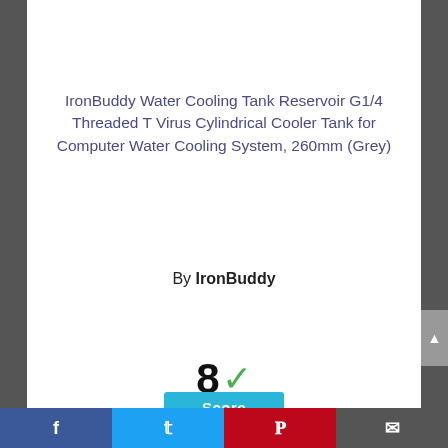[Figure (photo): Product image of IronBuddy Water Cooling Tank Reservoir, partially visible at top]
IronBuddy Water Cooling Tank Reservoir G1/4 Threaded T Virus Cylindrical Cooler Tank for Computer Water Cooling System, 260mm (Grey)
By IronBuddy
View Product
8 ✓
Score